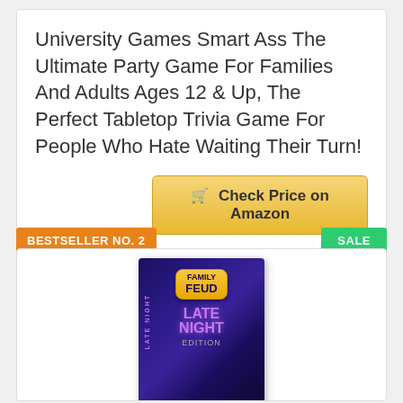University Games Smart Ass The Ultimate Party Game For Families And Adults Ages 12 & Up, The Perfect Tabletop Trivia Game For People Who Hate Waiting Their Turn!
Check Price on Amazon
BESTSELLER NO. 2
SALE
[Figure (photo): Family Feud Late Night Edition board game box with purple/dark background and colorful text]